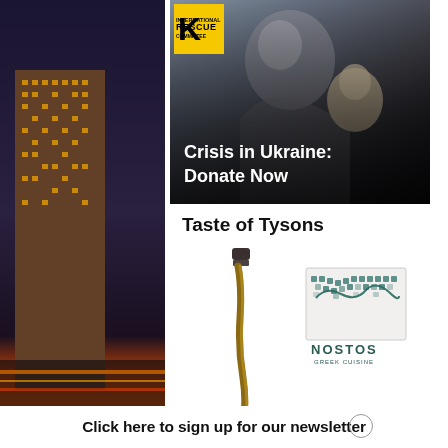[Figure (photo): City skyline at night/dusk on left side background]
[Figure (photo): IRC (International Rescue Committee) advertisement showing a mother holding a child with overlay text 'Crisis in Ukraine: Donate Now' and IRC logo]
[Figure (logo): International Rescue Committee yellow and black logo in top left corner of ad]
Taste of Tysons
[Figure (photo): Olive oil drizzling from a bottle spout alongside the Nostos Greek Cuisine logo]
[Figure (logo): Nostos Greek Cuisine logo — wave pattern with text]
[Figure (photo): City skyline at dusk on right side background]
Click here to sign up for our newsletter